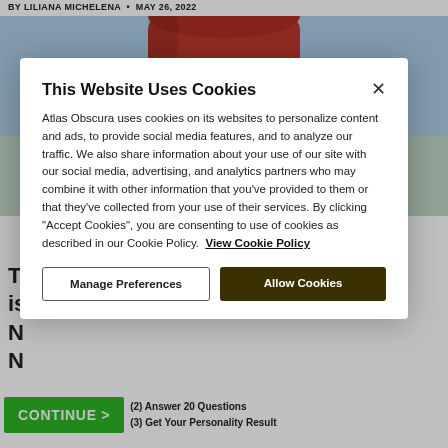BY LILIANA MICHELENA • MAY 26, 2022
[Figure (photo): A red cylindrical buoy against a light blue sky background]
This Website Uses Cookies
Atlas Obscura uses cookies on its websites to personalize content and ads, to provide social media features, and to analyze our traffic. We also share information about your use of our site with our social media, advertising, and analytics partners who may combine it with other information that you've provided to them or that they've collected from your use of their services. By clicking "Accept Cookies", you are consenting to use of cookies as described in our Cookie Policy. View Cookie Policy
Manage Preferences
Allow Cookies
CONTINUE > (2) Answer 20 Questions (3) Get Your Personality Result